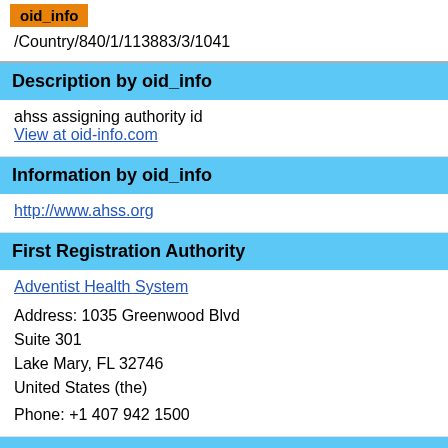oid_info
/Country/840/1/113883/3/1041
Description by oid_info
ahss assigning authority id
View at oid-info.com
Information by oid_info
http://www.ahss.org
First Registration Authority
Adventist Health System
Address: 1035 Greenwood Blvd
Suite 301
Lake Mary, FL 32746
United States (the)

Phone: +1 407 942 1500
Current Registration Authority (recovered by parent 2.16.840.1)